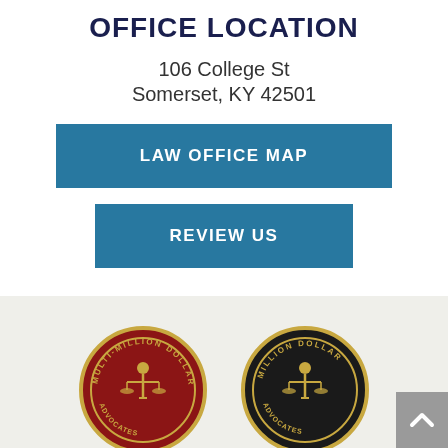OFFICE LOCATION
106 College St
Somerset, KY 42501
LAW OFFICE MAP
REVIEW US
[Figure (logo): Two circular award badges partially visible at the bottom: one red/gold 'Multi-Million Dollar' badge and one black/gold 'Million Dollar' badge]
[Figure (other): Gray scroll-to-top button with up arrow chevron on the right side]